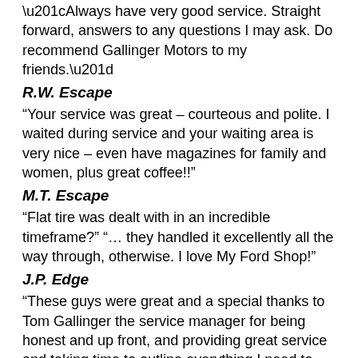“Always have very good service. Straight forward, answers to any questions I may ask. Do recommend Gallinger Motors to my friends.”
R.W. Escape
“Your service was great – courteous and polite. I waited during service and your waiting area is very nice – even have magazines for family and women, plus great coffee!!”
M.T. Escape
“Flat tire was dealt with in an incredible timeframe?” “… they handled it excellently all the way through, otherwise. I love My Ford Shop!”
J.P. Edge
“These guys were great and a special thanks to Tom Gallinger the service manager for being honest and up front, and providing great service and taking time to outline everything I need to know? Great job!! Great staff? I am a Ford